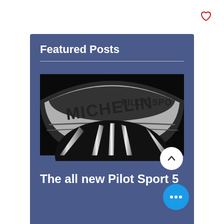[Figure (illustration): Heart/favorite icon outline in red, top right corner of page]
Featured Posts
[Figure (photo): Close-up photo of a Michelin Pilot Sport tire mounted on a dark alloy wheel with chrome spokes, black background]
The all new Pilot Sport 5